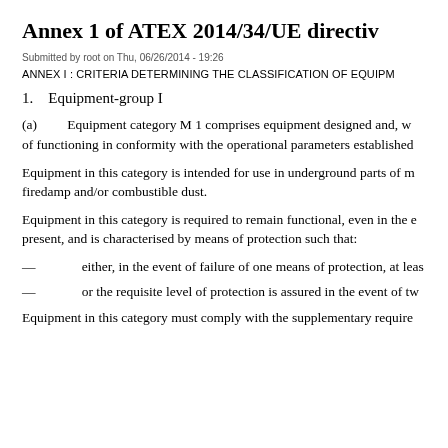Annex 1 of ATEX 2014/34/UE directiv
Submitted by root on Thu, 06/26/2014 - 19:26
ANNEX I : CRITERIA DETERMINING THE CLASSIFICATION OF EQUIPM
1.    Equipment-group I
(a)          Equipment category M 1 comprises equipment designed and, w of functioning in conformity with the operational parameters established
Equipment in this category is intended for use in underground parts of m firedamp and/or combustible dust.
Equipment in this category is required to remain functional, even in the e present, and is characterised by means of protection such that:
—          either, in the event of failure of one means of protection, at leas
—          or the requisite level of protection is assured in the event of tw
Equipment in this category must comply with the supplementary require